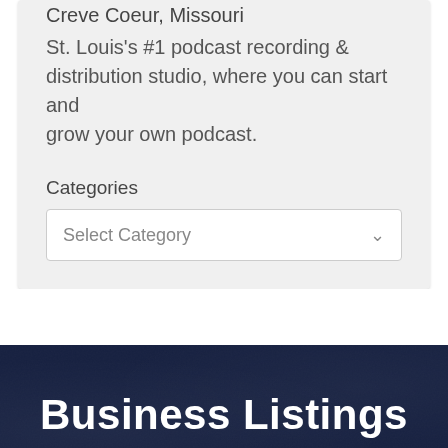Creve Coeur, Missouri
St. Louis's #1 podcast recording & distribution studio, where you can start and grow your own podcast.
Categories
Select Category
Business Listings